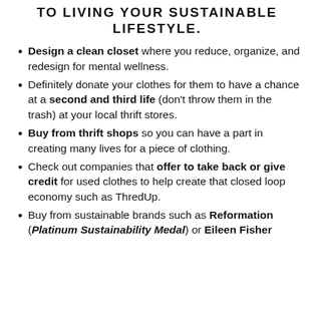TO LIVING YOUR SUSTAINABLE LIFESTYLE.
Design a clean closet where you reduce, organize, and redesign for mental wellness.
Definitely donate your clothes for them to have a chance at a second and third life (don't throw them in the trash) at your local thrift stores.
Buy from thrift shops so you can have a part in creating many lives for a piece of clothing.
Check out companies that offer to take back or give credit for used clothes to help create that closed loop economy such as ThredUp.
Buy from sustainable brands such as Reformation (Platinum Sustainability Medal) or Eileen Fisher